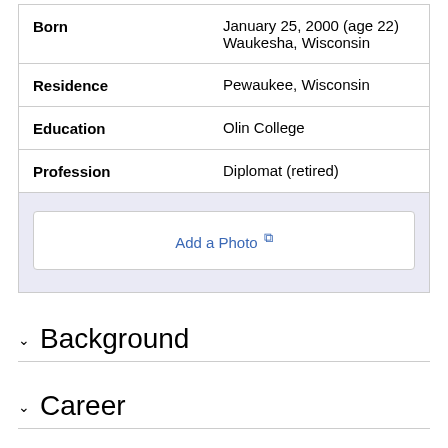| Field | Value |
| --- | --- |
| Born | January 25, 2000 (age 22)
Waukesha, Wisconsin |
| Residence | Pewaukee, Wisconsin |
| Education | Olin College |
| Profession | Diplomat (retired) |
|  | Add a Photo ↗ |
Background
Career